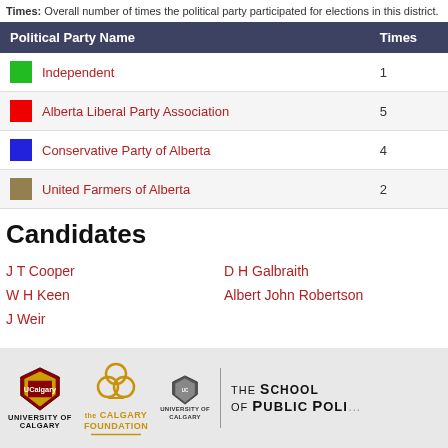Times: Overall number of times the political party participated for elections in this district.
| Political Party Name | Times |
| --- | --- |
| Independent | 1 |
| Alberta Liberal Party Association | 5 |
| Conservative Party of Alberta | 4 |
| United Farmers of Alberta | 2 |
Candidates
J T Cooper
W H Keen
J Weir
D H Galbraith
Albert John Robertson
[Figure (logo): University of Calgary shield logo with text UNIVERSITY OF CALGARY below]
[Figure (logo): The Calgary Foundation logo with trefoil symbol in gold]
[Figure (logo): University of Calgary shield logo with THE SCHOOL OF PUBLIC POLICY text]